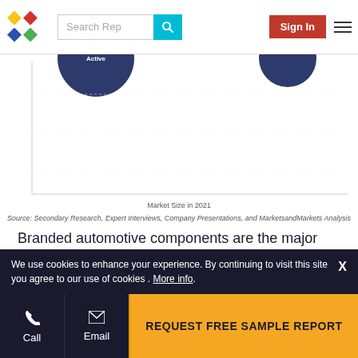MarketsandMarkets website header with logo, search bar, Sign In button, and hamburger menu
[Figure (continuous-plot): Partial bubble/scatter chart showing market size vs CAGR, with two dark blue circular bubbles visible. X-axis labeled 'Market Size in 2021'. Y-axis partially visible labeled 'CAGR (%)'.]
Source: Secondary Research, Expert Interviews, Company Presentations, and MarketsandMarkets Analysis
Branded automotive components are the major shareholding segment in the global E-tailing market with around 70% of the market share. The demand for quality products coupled with the guarantee associated with branded automotive components has driven the demand for branded components in the global E-tailing market.
We use cookies to enhance your experience. By continuing to visit this site you agree to our use of cookies . More info.
Call | Email | REQUEST FREE SAMPLE REPORT